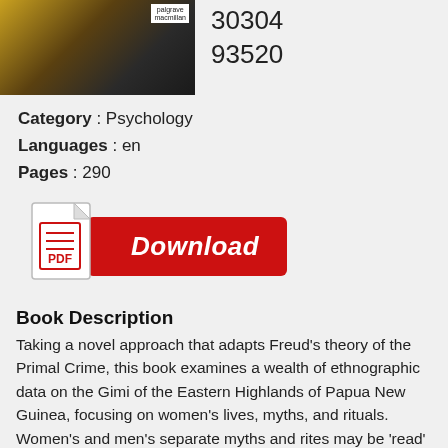[Figure (photo): Book cover image with dark tones and Palgrave Macmillan publisher logo visible, alongside numbers 30304 and 93520]
Category : Psychology
Languages : en
Pages : 290
[Figure (infographic): PDF download button with red PDF icon and red Download button]
Book Description
Taking a novel approach that adapts Freud's theory of the Primal Crime, this book examines a wealth of ethnographic data on the Gimi of the Eastern Highlands of Papua New Guinea, focusing on women's lives, myths, and rituals. Women's and men's separate myths and rites may be 'read' as a cycle of blame about which sex